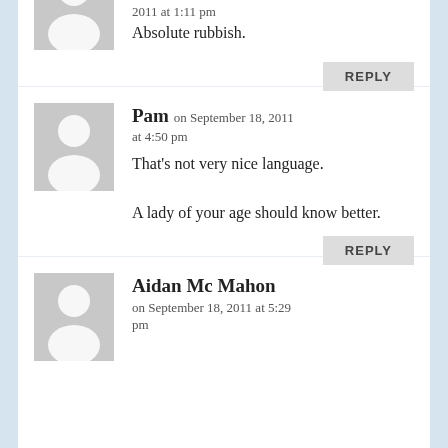2011 at 1:11 pm
Absolute rubbish.
REPLY
Pam on September 18, 2011 at 4:50 pm
That's not very nice language.

A lady of your age should know better.
REPLY
Aidan Mc Mahon on September 18, 2011 at 5:29 pm